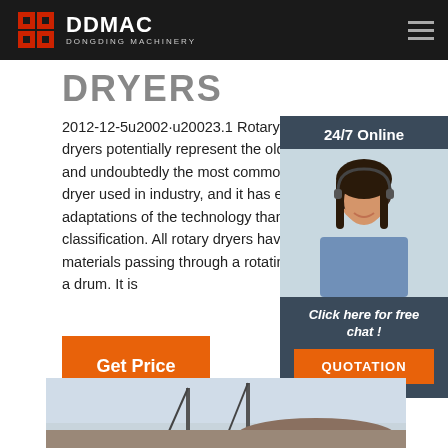DDMAC DONGDING MACHINERY
DRYERS
2012-12-5u2002·u20023.1 Rotary Dryers R dryers potentially represent the oldest conti and undoubtedly the most common high vo dryer used in industry, and it has evolved m adaptations of the technology than any othe classification. All rotary dryers have the fee materials passing through a rotating cylinde a drum. It is
[Figure (photo): Customer service representative woman wearing headset, smiling, with '24/7 Online' header and 'Click here for free chat!' and 'QUOTATION' button overlay]
[Figure (photo): Industrial machinery or crane equipment photograph shown at bottom of page]